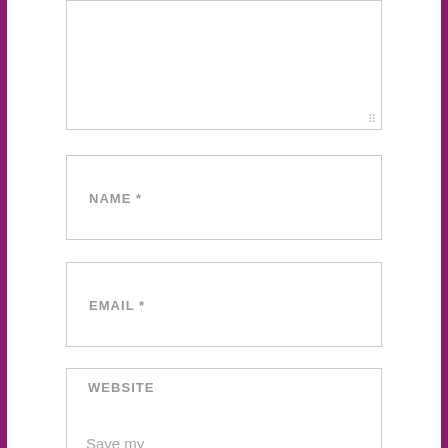[Figure (screenshot): A web form partial view showing a textarea (comment box) at the top with a resize handle, followed by three input fields labeled NAME *, EMAIL *, and WEBSITE, and partial text 'Save my name, email, and website' at the bottom. The page has purple/magenta left and right border bars.]
NAME *
EMAIL *
WEBSITE
Save my name, email, and website